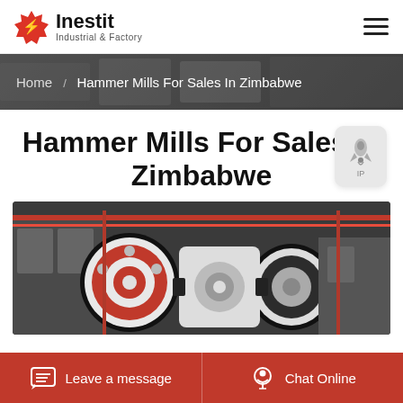[Figure (logo): Inestit Industrial & Factory logo with red gear/bolt icon and bold black text]
Home / Hammer Mills For Sales In Zimbabwe
Hammer Mills For Sales In Zimbabwe
[Figure (photo): Industrial hammer mill machinery with large red and black wheels/pulleys in a factory setting]
Leave a message
Chat Online